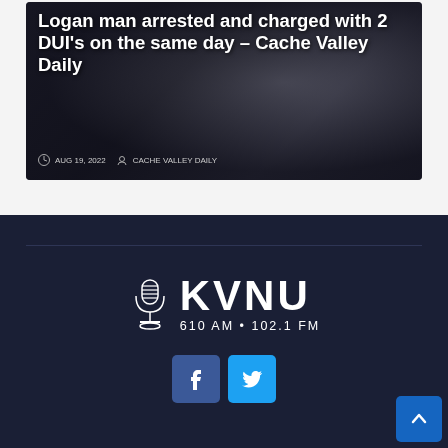[Figure (photo): Dark background with handcuffs image overlaid with white bold article title text]
Logan man arrested and charged with 2 DUI's on the same day – Cache Valley Daily
AUG 19, 2022   CACHE VALLEY DAILY
[Figure (logo): KVNU radio station logo with microphone icon, text KVNU 610 AM • 102.1 FM]
[Figure (infographic): Facebook and Twitter social media buttons]